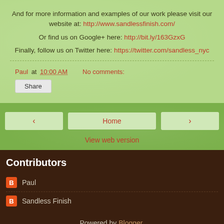And for more information and examples of our work please visit our website at: http://www.sandlessfinish.com/
Or find us on Google+ here: http://bit.ly/163GzxG
Finally, follow us on Twitter here: https://twitter.com/sandless_nyc
Paul at 10:00 AM    No comments:
Share
< Home >
View web version
Contributors
Paul
Sandless Finish
Powered by Blogger.